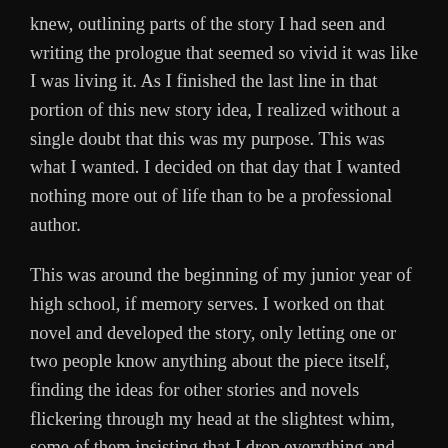knew, outlining parts of the story I had seen and writing the prologue that seemed so vivid it was like I was living it. As I finished the last line in that portion of this new story idea, I realized without a single doubt that this was my purpose. This was what I wanted. I decided on that day that I wanted nothing more out of life than to be a professional author.
This was around the beginning of my junior year of high school, if memory serves. I worked on that novel and developed the story, only letting one or two people know anything about the piece itself, finding the ideas for other stories and novels flickering through my head at the slightest whim, some of them insisting that I drop everything and write them immediately. It was the following Summer that I got the idea for my most loved project (Maverin) and began going down that